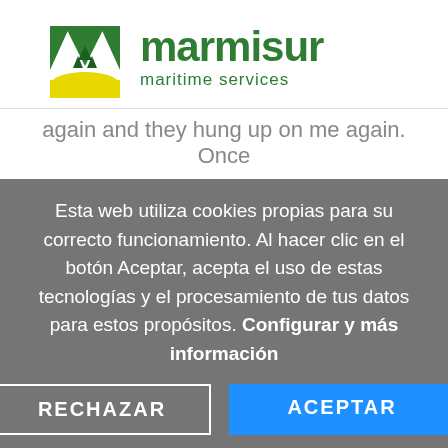[Figure (logo): Marmisur maritime services logo with green M-shaped icon and yellow wave at bottom, green text 'marmisur' and 'maritime services']
again and they hung up on me again. Once
Esta web utiliza cookies propias para su correcto funcionamiento. Al hacer clic en el botón Aceptar, acepta el uso de estas tecnologías y el procesamiento de tus datos para estos propósitos. Configurar y más información
RECHAZAR
ACEPTAR